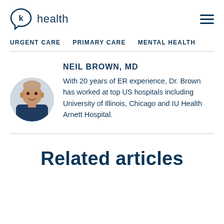K health
URGENT CARE  PRIMARY CARE  MENTAL HEALTH
NEIL BROWN, MD
With 20 years of ER experience, Dr. Brown has worked at top US hospitals including University of Illinois, Chicago and IU Health Arnett Hospital.
[Figure (photo): Circular portrait photo of Dr. Neil Brown in a blue jacket]
Related articles